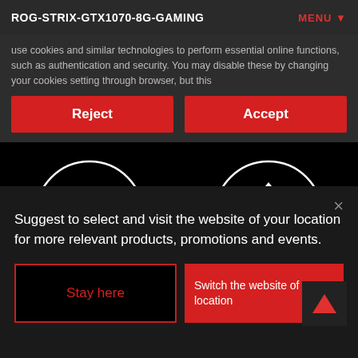ROG-STRIX-GTX1070-8G-GAMING
use cookies and similar technologies to perform essential online functions, such as authentication and security. You may disable these by changing your cookies setting through browser, but this
Reject
Accept
[Figure (illustration): Cookie icon (two circles like eyes) on black circular background]
[Figure (illustration): Refresh/sync icon (circular arrows) on black circular background]
Suggest to select and visit the website of your location for more relevant products, promotions and events.
Stay here
Switch the website of your location